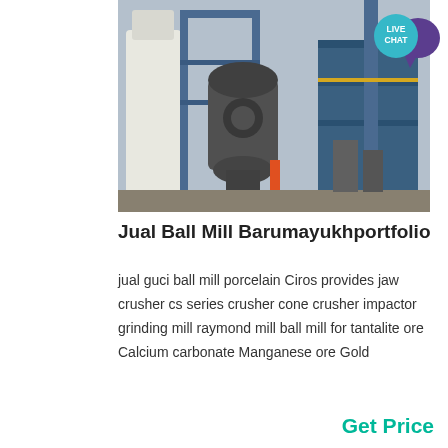[Figure (photo): Industrial ball mill / grinding mill equipment in an outdoor factory setting with blue steel frame structures]
Jual Ball Mill Barumayukhportfolio
jual guci ball mill porcelain Ciros provides jaw crusher cs series crusher cone crusher impactor grinding mill raymond mill ball mill for tantalite ore Calcium carbonate Manganese ore Gold
Get Price